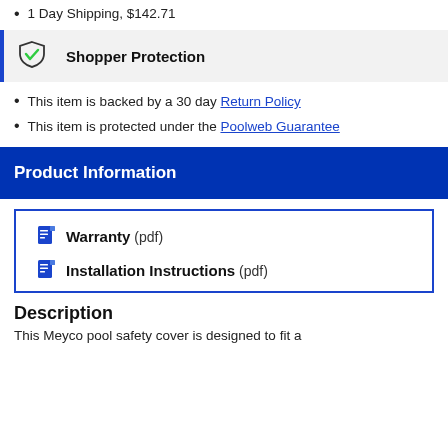1 Day Shipping, $142.71
Shopper Protection
This item is backed by a 30 day Return Policy
This item is protected under the Poolweb Guarantee
Product Information
Warranty (pdf)
Installation Instructions (pdf)
Description
This Meyco pool safety cover is designed to fit a